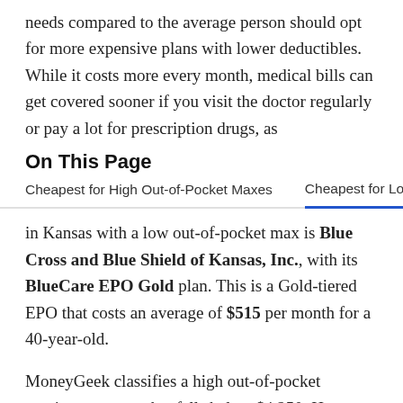needs compared to the average person should opt for more expensive plans with lower deductibles. While it costs more every month, medical bills can get covered sooner if you visit the doctor regularly or pay a lot for prescription drugs, as
On This Page
Cheapest for High Out-of-Pocket Maxes    Cheapest for Low
in Kansas with a low out-of-pocket max is Blue Cross and Blue Shield of Kansas, Inc., with its BlueCare EPO Gold plan. This is a Gold-tiered EPO that costs an average of $515 per month for a 40-year-old.
MoneyGeek classifies a high out-of-pocket maximum as one that falls below $4,250. However, the average deductible for the BlueCare EPO Gold plan is $4,500. While this is slightly higher, MoneyGeek has identified this as the plan with the cheapest premiums and the lowest out-of-pocket maximum in Kansas.